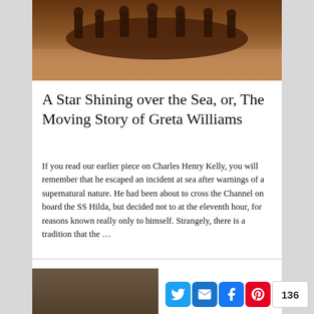[Figure (photo): Sepia-toned vintage photograph showing a group of formally dressed people seated around a table]
A Star Shining over the Sea, or, The Moving Story of Greta Williams
If you read our earlier piece on Charles Henry Kelly, you will remember that he escaped an incident at sea after warnings of a supernatural nature.  He had been about to cross the Channel on board the SS Hilda, but decided not to at the eleventh hour, for reasons known really only to himself.  Strangely, there is a tradition that the …